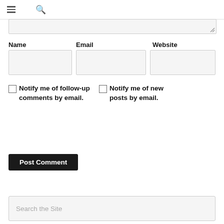☰ 🔍
[Figure (screenshot): Comment form textarea (partially visible, resizable)]
Name
Email
Website
[Figure (screenshot): Three input fields: Name, Email, Website]
Notify me of follow-up comments by email.
Notify me of new posts by email.
Post Comment
Search the Site